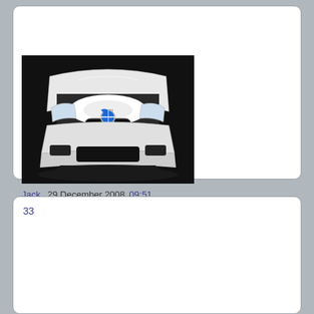[Figure (photo): Photo of a white BMW M3 viewed from front with hood open, showing engine bay with white engine cover. Dark background, taken from slightly elevated angle.]
Jack  29 December 2008 09:51
33